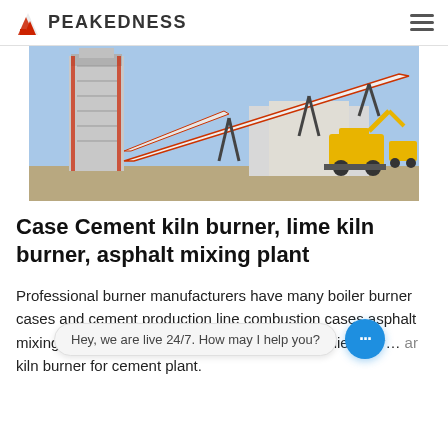PEAKEDNESS
[Figure (photo): Industrial asphalt or cement plant with conveyor belts, a tall silo structure, and yellow construction equipment in the background against a blue sky.]
Case Cement kiln burner, lime kiln burner, asphalt mixing plant
Professional burner manufacturers have many boiler burner cases and cement production line combustion cases,asphalt mixing plant burners,blast furnace gas burners,diesel dr... ar kiln burner for cement plant.